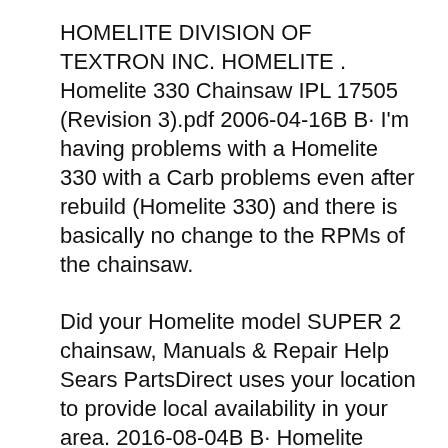HOMELITE DIVISION OF TEXTRON INC. HOMELITE . Homelite 330 Chainsaw IPL 17505 (Revision 3).pdf 2006-04-16В В· I'm having problems with a Homelite 330 with a Carb problems even after rebuild (Homelite 330) and there is basically no change to the RPMs of the chainsaw.
Did your Homelite model SUPER 2 chainsaw, Manuals & Repair Help Sears PartsDirect uses your location to provide local availability in your area. 2016-08-04В В· Homelite Super Xl Automatic Chainsaw Manual Pdf Jean M Homelite Chainsaw super xl SUPER XL 12 CHAIN SAW вЂ¦